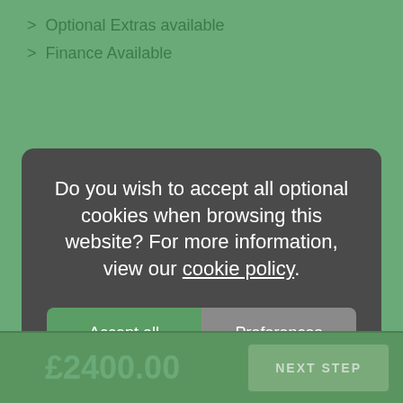> Optional Extras available
> Finance Available
Do you wish to accept all optional cookies when browsing this website? For more information, view our cookie policy.
Accept all
Preferences
Decline all
£2400.00
NEXT STEP